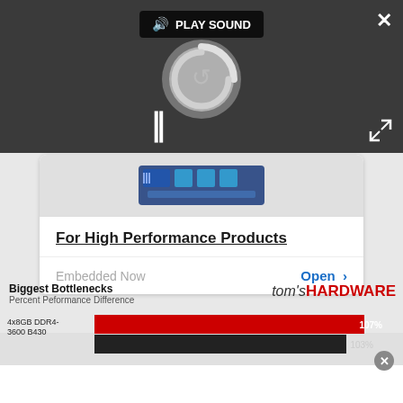[Figure (screenshot): Dark overlay video player UI with PLAY SOUND button, spinning loading circle, pause icon, close X button, and expand icon]
[Figure (screenshot): Advertisement card showing a motherboard image, title 'For High Performance Products', 'Embedded Now' text and 'Open >' button]
For High Performance Products
Embedded Now
Open >
Biggest Bottlenecks
Percent Peformance Difference
tom's HARDWARE
[Figure (bar-chart): Biggest Bottlenecks - Percent Peformance Difference]